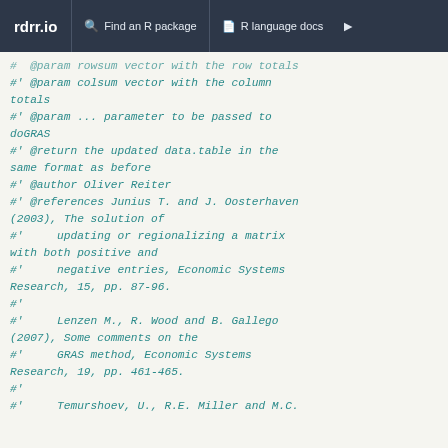rdrr.io  Find an R package  R language docs
#  @param rowsum vector with the row totals
#' @param colsum vector with the column totals
#' @param ... parameter to be passed to doGRAS
#' @return the updated data.table in the same format as before
#' @author Oliver Reiter
#' @references Junius T. and J. Oosterhaven (2003), The solution of
#'      updating or regionalizing a matrix with both positive and
#'      negative entries, Economic Systems Research, 15, pp. 87-96.
#'
#'      Lenzen M., R. Wood and B. Gallego (2007), Some comments on the
#'      GRAS method, Economic Systems Research, 19, pp. 461-465.
#'
#'      Temurshoev, U., R.E. Miller and M.C.